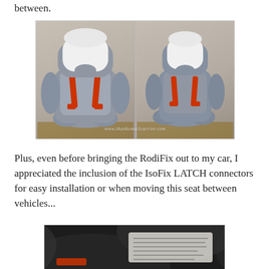between.
[Figure (photo): Two side-by-side photos of a gray RodiFix booster car seat with white headrest cushion and red/orange harness straps, shown front-facing and slightly angled. Watermark reads www.thanksmailcarrier.com]
Plus, even before bringing the RodiFix out to my car, I appreciated the inclusion of the IsoFix LATCH connectors for easy installation or when moving this seat between vehicles...
[Figure (photo): Close-up photo of the underside/back of the RodiFix car seat showing a label with text and the IsoFix LATCH connector hardware visible.]